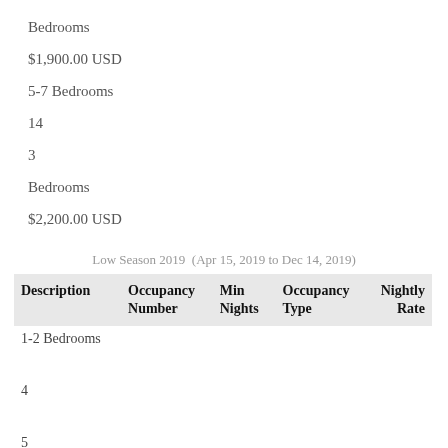Bedrooms
$1,900.00 USD
5-7 Bedrooms
14
3
Bedrooms
$2,200.00 USD
Low Season 2019  (Apr 15, 2019 to Dec 14, 2019)
| Description | Occupancy Number | Min Nights | Occupancy Type | Nightly Rate |
| --- | --- | --- | --- | --- |
| 1-2 Bedrooms |  |  |  |  |
| 4 |  |  |  |  |
| 5 |  |  |  |  |